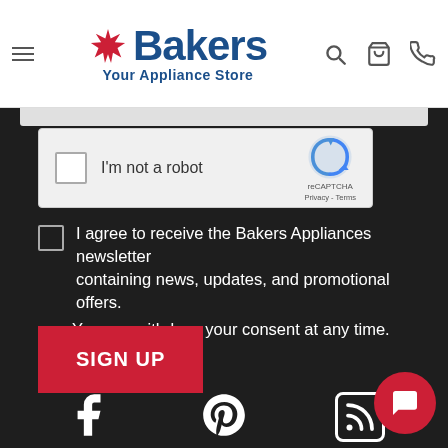[Figure (logo): Bakers Your Appliance Store logo with maple leaf icon and navigation icons]
[Figure (screenshot): reCAPTCHA widget with checkbox 'I'm not a robot' and reCAPTCHA logo with Privacy and Terms links]
I agree to receive the Bakers Appliances newsletter containing news, updates, and promotional offers. You can withdraw your consent at any time.
SIGN UP
[Figure (infographic): Social media icons: Facebook, Pinterest, RSS feed, and chat bubble button]